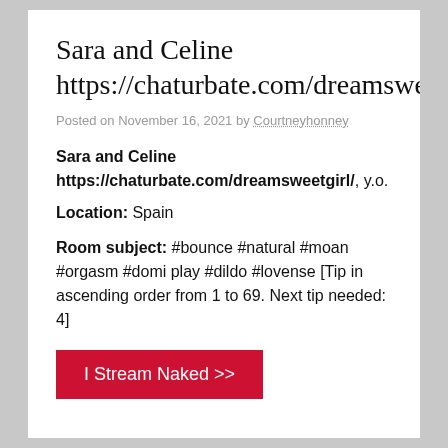Sara and Celine https://chaturbate.com/dreamsweetgirl/
Posted on November 16, 2021 by Courtneyhonney
Sara and Celine
https://chaturbate.com/dreamsweetgirl/, y.o.
Location: Spain
Room subject: #bounce #natural #moan #orgasm #domi play #dildo #lovense [Tip in ascending order from 1 to 69. Next tip needed: 4]
I Stream Naked >>